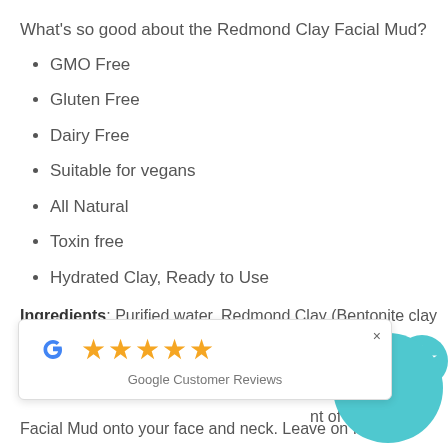What's so good about the Redmond Clay Facial Mud?
GMO Free
Gluten Free
Dairy Free
Suitable for vegans
All Natural
Toxin free
Hydrated Clay, Ready to Use
Ingredients: Purified water, Redmond Clay (Bentonite clay of the... ...o silver ...nt of Redmon...
[Figure (screenshot): Google Customer Reviews popup with 5 yellow stars and close button]
Facial Mud onto your face and neck. Leave on for 10